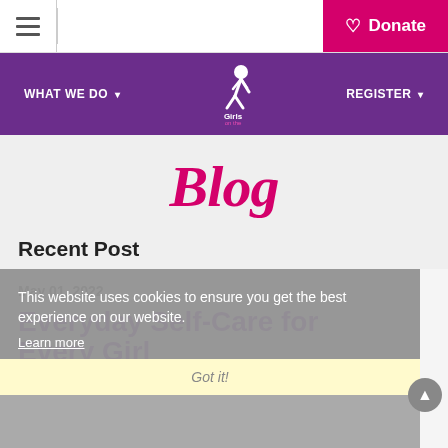≡ | Donate
[Figure (logo): Girls on the Run logo with silhouette of running girl, navigation links: WHAT WE DO (dropdown), REGISTER (dropdown), on purple background]
Blog
Recent Post
This website uses cookies to ensure you get the best experience on our website.
Learn more
May 01, 2022
Everyday Self-Care for Every Girl
Got it!